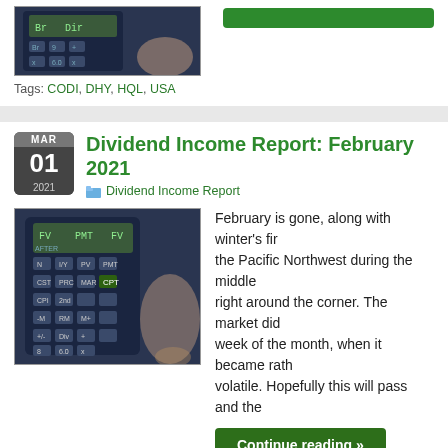[Figure (photo): Calculator photo (partial, top of page)]
Tags: CODI, DHY, HQL, USA
Dividend Income Report: February 2021
Dividend Income Report
[Figure (photo): Calculator with hand pressing buttons]
February is gone, along with winter's fi... the Pacific Northwest during the middle... right around the corner. The market did... week of the month, when it became rath... volatile. Hopefully this will pass and the...
Continue reading »
Tags: OHI
Dividend Income Report: January 2021
Dividend Income Report